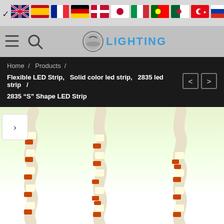[Figure (screenshot): Website page header with language flags selector showing UK flag with checkmark selected, plus flags for Spain, France, Germany, Denmark, Japan, Italy, Portugal, Algeria, Turkey, Russia, Greece]
[Figure (logo): ILED LIGHTING company logo with circular icon and blue text]
Home / Products /
Flexible LED Strip,  Solid color led strip,  2835 led strip  /
2835 "S" Shape LED Strip
[Figure (photo): Product photo showing three S-shaped flexible LED strips with 2835 SMD LEDs (white LEDs and orange resistors visible) on white/beige PCB against a light green gradient background]